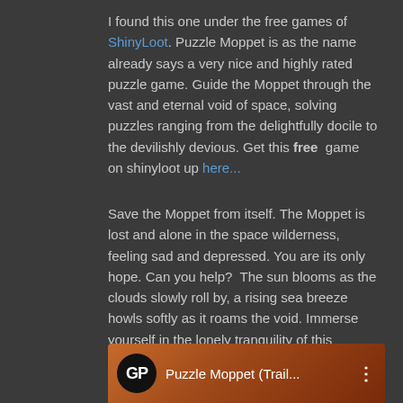I found this one under the free games of ShinyLoot. Puzzle Moppet is as the name already says a very nice and highly rated puzzle game. Guide the Moppet through the vast and eternal void of space, solving puzzles ranging from the delightfully docile to the devilishly devious. Get this free game on shinyloot up here...
Save the Moppet from itself. The Moppet is lost and alone in the space wilderness, feeling sad and depressed. You are its only hope. Can you help?  The sun blooms as the clouds slowly roll by, a rising sea breeze howls softly as it roams the void. Immerse yourself in the lonely tranquility of this mysterious other world.
go to the game page up here...
[Figure (screenshot): Video thumbnail bar showing a black circle with 'GP' text, followed by 'Puzzle Moppet (Trail...' title on an orange-brown gradient background with a vertical dots menu icon]